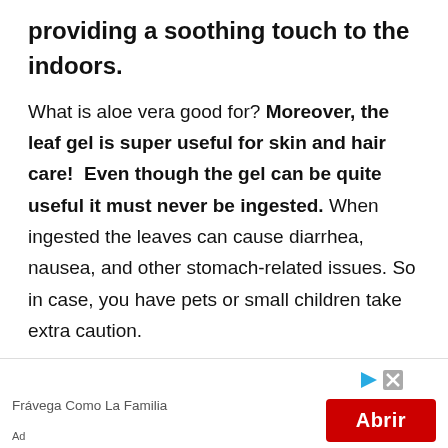providing a soothing touch to the indoors.
What is aloe vera good for? Moreover, the leaf gel is super useful for skin and hair care!  Even though the gel can be quite useful it must never be ingested. When ingested the leaves can cause diarrhea, nausea, and other stomach-related issues. So in case, you have pets or small children take extra caution.
The best thing is Aloes are available in a variety of shades and designs. This
Frávega Como La Familia
Ad
[Figure (other): Red advertisement button with white text 'Abrir' and play/close icons]